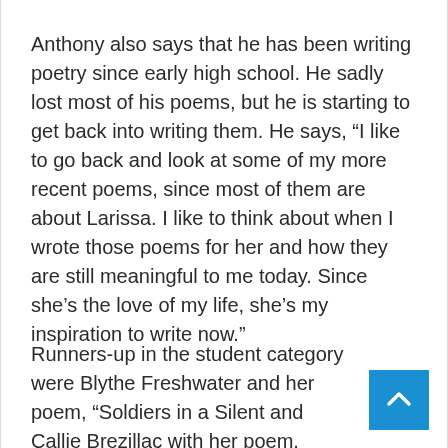Anthony also says that he has been writing poetry since early high school. He sadly lost most of his poems, but he is starting to get back into writing them. He says, “I like to go back and look at some of my more recent poems, since most of them are about Larissa. I like to think about when I wrote those poems for her and how they are still meaningful to me today. Since she’s the love of my life, she’s my inspiration to write now.”
Runners-up in the student category were Blythe Freshwater and her poem, “Soldiers in a Silent and Callie Brezillac with her poem, “Beauty.”